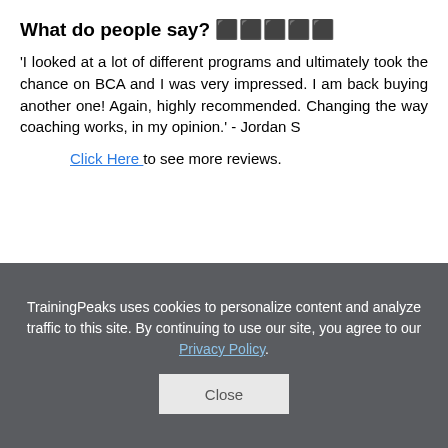What do people say? ⬛⬛⬛⬛⬛
'I looked at a lot of different programs and ultimately took the chance on BCA and I was very impressed. I am back buying another one! Again, highly recommended. Changing the way coaching works, in my opinion.' - Jordan S
Click Here to see more reviews.
Details of this Plan
TrainingPeaks uses cookies to personalize content and analyze traffic to this site. By continuing to use our site, you agree to our Privacy Policy.
Close